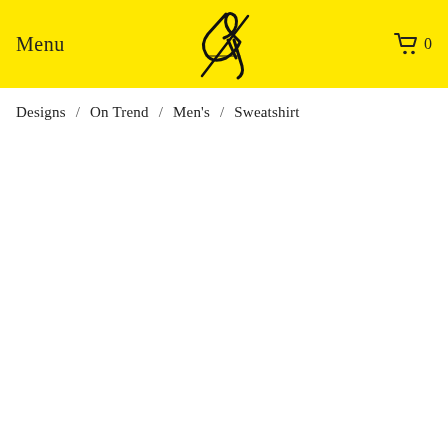Menu  [logo: &y]  0
Designs / On Trend / Men's / Sweatshirt